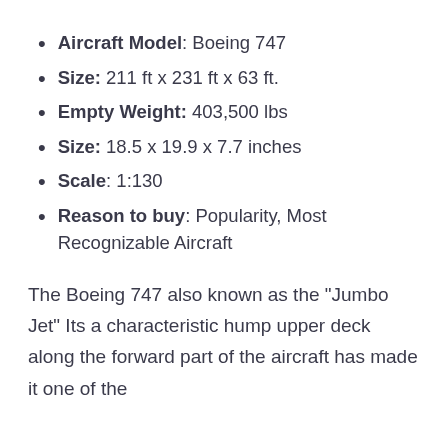Aircraft Model: Boeing 747
Size: 211 ft x 231 ft x 63 ft.
Empty Weight: 403,500 lbs
Size: 18.5 x 19.9 x 7.7 inches
Scale: 1:130
Reason to buy: Popularity, Most Recognizable Aircraft
The Boeing 747 also known as the “Jumbo Jet” Its a characteristic hump upper deck along the forward part of the aircraft has made it one of the